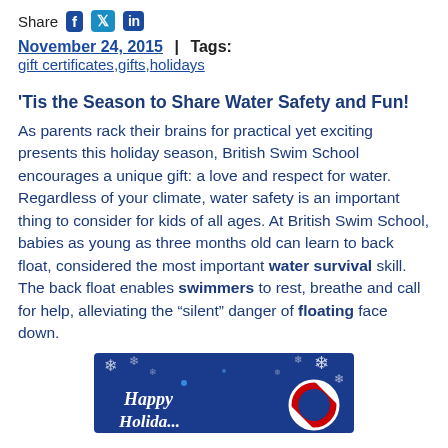Share [Facebook] [Twitter] [LinkedIn]
November 24, 2015 | Tags: gift certificates,gifts,holidays
'Tis the Season to Share Water Safety and Fun!
As parents rack their brains for practical yet exciting presents this holiday season, British Swim School encourages a unique gift: a love and respect for water. Regardless of your climate, water safety is an important thing to consider for kids of all ages. At British Swim School, babies as young as three months old can learn to back float, considered the most important water survival skill. The back float enables swimmers to rest, breathe and call for help, alleviating the "silent" danger of floating face down.
[Figure (photo): Holiday greeting image with snowflakes and a swim ring, text 'Happy Holidays']